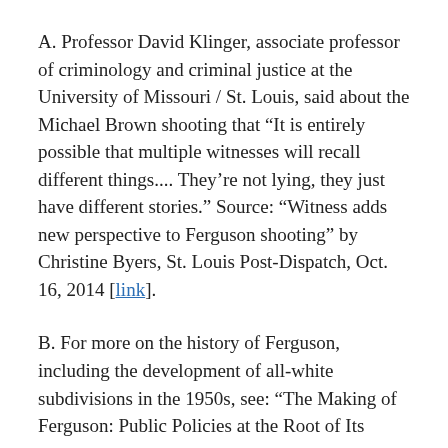A. Professor David Klinger, associate professor of criminology and criminal justice at the University of Missouri / St. Louis, said about the Michael Brown shooting that “It is entirely possible that multiple witnesses will recall different things.... They’re not lying, they just have different stories.” Source: “Witness adds new perspective to Ferguson shooting” by Christine Byers, St. Louis Post-Dispatch, Oct. 16, 2014 [link].
B. For more on the history of Ferguson, including the development of all-white subdivisions in the 1950s, see: “The Making of Ferguson: Public Policies at the Root of Its